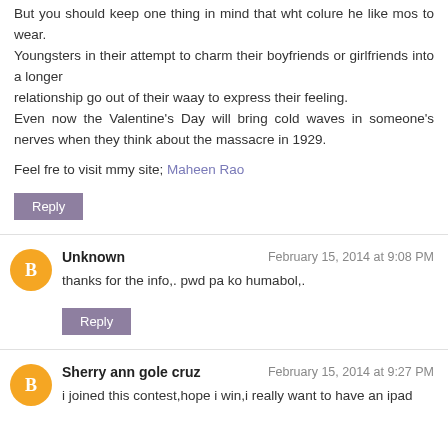But you should keep one thing in mind that wht colure he like mos to wear.
Youngsters in their attempt to charm their boyfriends or girlfriends into a longer
relationship go out of their waay to express their feeling.
Even now the Valentine's Day will bring cold waves in someone's nerves when they think about the massacre in 1929.
Feel fre to visit mmy site; Maheen Rao
Unknown — February 15, 2014 at 9:08 PM
thanks for the info,. pwd pa ko humabol,.
Sherry ann gole cruz — February 15, 2014 at 9:27 PM
i joined this contest,hope i win,i really want to have an ipad